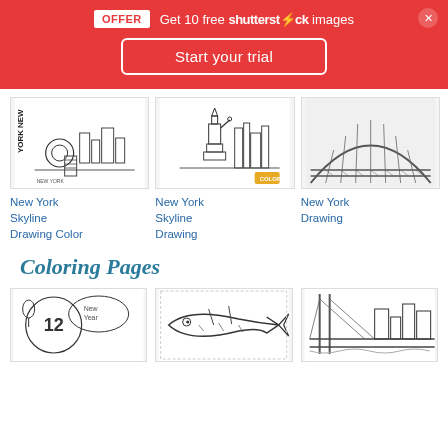[Figure (screenshot): Red promotional banner: OFFER Get 10 free Shutterstock images, Start your trial button, close X button]
[Figure (illustration): New York Skyline coloring page drawing with color - line art with rose, buildings, New York text]
New York Skyline Drawing Color
[Figure (illustration): New York Skyline Drawing - Statue of Liberty with NYC skyline line art]
New York Skyline Drawing
[Figure (illustration): New York Drawing - photo/drawing of bridge structure steel]
New York Drawing
Coloring Pages
[Figure (illustration): Coloring page thumbnail - appears to show number 12 and figures]
[Figure (illustration): Coloring page thumbnail - fish/tuna drawing]
[Figure (illustration): Coloring page thumbnail - bridge and city skyline outline]